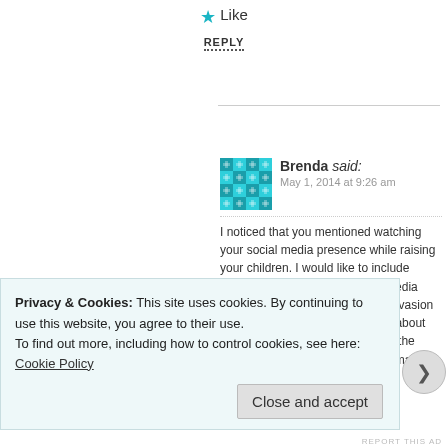★ Like
REPLY
Brenda said: May 1, 2014 at 9:26 am
I noticed that you mentioned watching your social media presence while raising your children. I would like to include watching your children's social media accounts as well. This is not an invasion of privacy or overbearing, it is all about protecting the youth from making the same mistakes some of us have made in social media...
Privacy & Cookies: This site uses cookies. By continuing to use this website, you agree to their use.
To find out more, including how to control cookies, see here: Cookie Policy
Close and accept